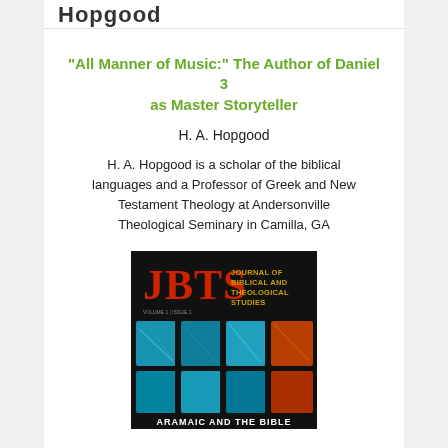Hopgood
“All Manner of Music:” The Author of Daniel 3 as Master Storyteller
H. A. Hopgood
H. A. Hopgood is a scholar of the biblical languages and a Professor of Greek and New Testament Theology at Andersonville Theological Seminary in Camilla, GA
[Figure (illustration): Cover of the Journal of Biblical and Theological Studies (JBTS), Volume 1, Issue 1. Features the JBTS logo in red letters, subtitle 'Journal of Biblical and Theological Studies' in gold text on black background, with colorful mosaic tiles in blue and orange patterns below, and text 'Aramaic and the Bible' at the bottom.]